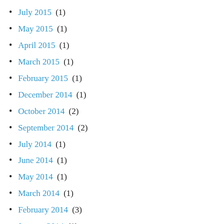July 2015 (1)
May 2015 (1)
April 2015 (1)
March 2015 (1)
February 2015 (1)
December 2014 (1)
October 2014 (2)
September 2014 (2)
July 2014 (1)
June 2014 (1)
May 2014 (1)
March 2014 (1)
February 2014 (3)
January 2014 (1)
December 2013 (1)
November 2013 (2)